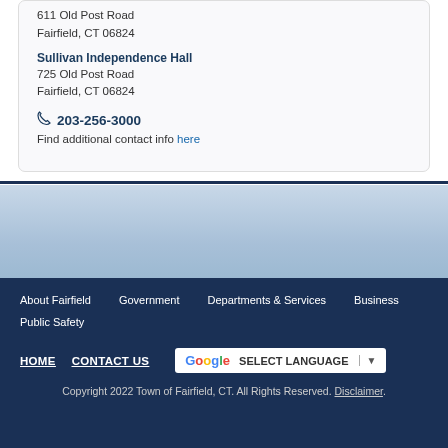611 Old Post Road
Fairfield, CT 06824
Sullivan Independence Hall
725 Old Post Road
Fairfield, CT 06824
203-256-3000
Find additional contact info here
[Figure (other): Blue gradient sky background section]
About Fairfield  Government  Departments & Services
Business  Public Safety
HOME  CONTACT US  SELECT LANGUAGE
Copyright 2022 Town of Fairfield, CT. All Rights Reserved. Disclaimer.